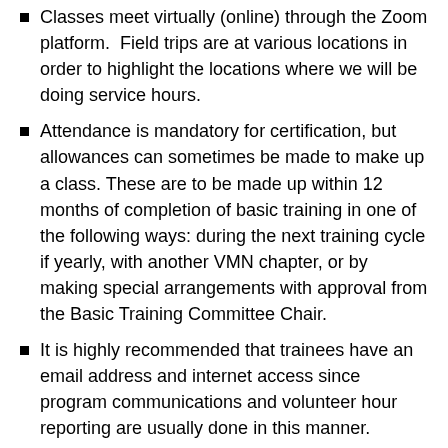Classes meet virtually (online) through the Zoom platform.  Field trips are at various locations in order to highlight the locations where we will be doing service hours.
Attendance is mandatory for certification, but allowances can sometimes be made to make up a class. These are to be made up within 12 months of completion of basic training in one of the following ways: during the next training cycle if yearly, with another VMN chapter, or by making special arrangements with approval from the Basic Training Committee Chair.
It is highly recommended that trainees have an email address and internet access since program communications and volunteer hour reporting are usually done in this manner.